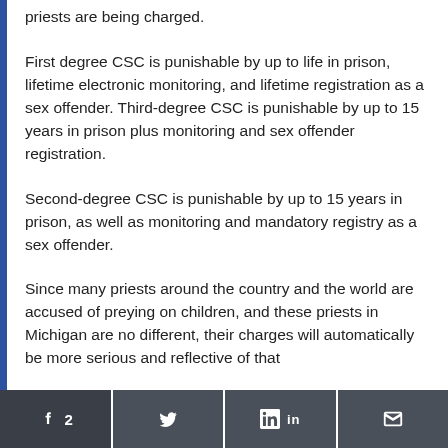priests are being charged.
First degree CSC is punishable by up to life in prison, lifetime electronic monitoring, and lifetime registration as a sex offender. Third-degree CSC is punishable by up to 15 years in prison plus monitoring and sex offender registration.
Second-degree CSC is punishable by up to 15 years in prison, as well as monitoring and mandatory registry as a sex offender.
Since many priests around the country and the world are accused of preying on children, and these priests in Michigan are no different, their charges will automatically be more serious and reflective of that
Share buttons: Facebook (2), Twitter, LinkedIn, Email